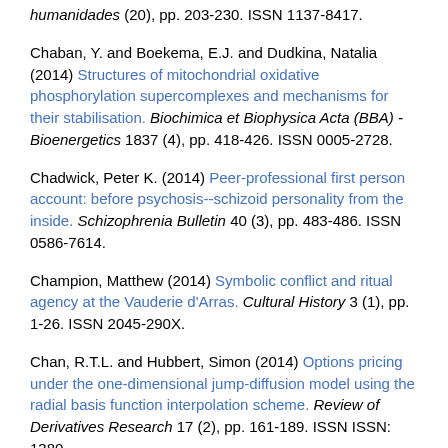humanidades (20), pp. 203-230. ISSN 1137-8417.
Chaban, Y. and Boekema, E.J. and Dudkina, Natalia (2014) Structures of mitochondrial oxidative phosphorylation supercomplexes and mechanisms for their stabilisation. Biochimica et Biophysica Acta (BBA) - Bioenergetics 1837 (4), pp. 418-426. ISSN 0005-2728.
Chadwick, Peter K. (2014) Peer-professional first person account: before psychosis--schizoid personality from the inside. Schizophrenia Bulletin 40 (3), pp. 483-486. ISSN 0586-7614.
Champion, Matthew (2014) Symbolic conflict and ritual agency at the Vauderie d'Arras. Cultural History 3 (1), pp. 1-26. ISSN 2045-290X.
Chan, R.T.L. and Hubbert, Simon (2014) Options pricing under the one-dimensional jump-diffusion model using the radial basis function interpolation scheme. Review of Derivatives Research 17 (2), pp. 161-189. ISSN ISSN: 1380-